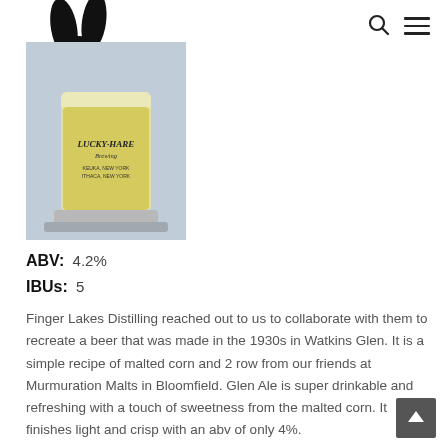[Figure (logo): Black rabbit silhouette logo with ears pointing up and a small clover/asterisk on the body]
[Figure (photo): Photo of a Lucky Hare Brewing branded pint glass filled with light yellow beer, set on a blue surface, with a black rabbit logo overlapping the top]
ABV:  4.2%
IBUs:  5
Finger Lakes Distilling reached out to us to collaborate with them to recreate a beer that was made in the 1930s in Watkins Glen. It is a simple recipe of malted corn and 2 row from our friends at Murmuration Malts in Bloomfield. Glen Ale is super drinkable and refreshing with a touch of sweetness from the malted corn. It finishes light and crisp with an abv of only 4%.